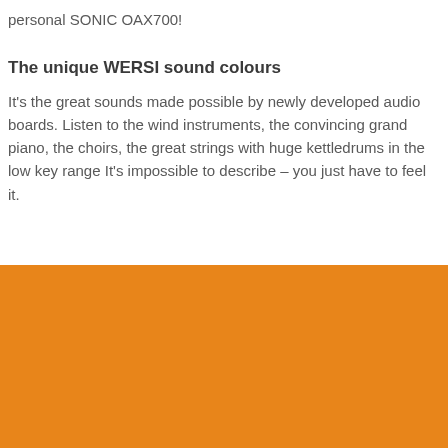personal SONIC OAX700!
The unique WERSI sound colours
It's the great sounds made possible by newly developed audio boards. Listen to the wind instruments, the convincing grand piano, the choirs, the great strings with huge kettledrums in the low key range It's impossible to describe – you just have to feel it.
[Figure (other): Large solid orange/amber colored rectangular block filling the bottom portion of the page.]